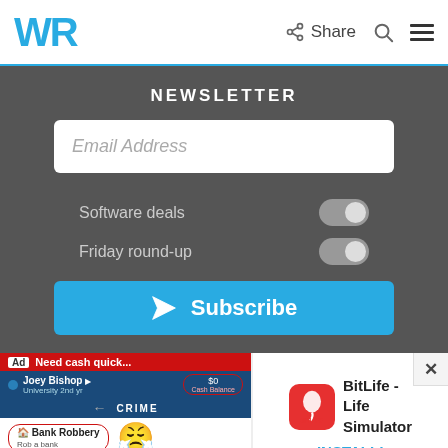WR | Share | [search] | [menu]
NEWSLETTER
Email Address
Software deals
Friday round-up
Subscribe
[Figure (screenshot): Ad banner showing a mobile game interface with 'Need cash quick...' text, user Joey Bishop, CRIME menu, Bank Robbery option with red circle highlight, and masked emoji character]
[Figure (screenshot): BitLife - Life Simulator app advertisement with orange app icon and INSTALL! button]